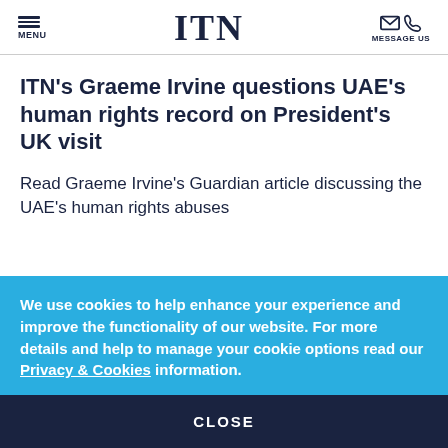MENU | ITN | MESSAGE US
ITN's Graeme Irvine questions UAE's human rights record on President's UK visit
Read Graeme Irvine's Guardian article discussing the UAE's human rights abuses
We use cookies to help enhance your experience and improve the functionality of our website. For more details and help to manage your cookie options read our Privacy & Cookies information.
CLOSE